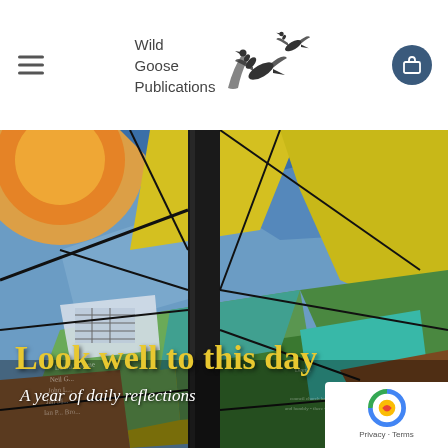Wild Goose Publications
[Figure (photo): Stained glass artwork with colorful geometric shapes including blues, greens, yellows, and oranges. A dark vertical element crosses the image. A book cover overlay shows 'Look well to this day – A year of daily reflections'.]
Look well to this day
A year of daily reflections